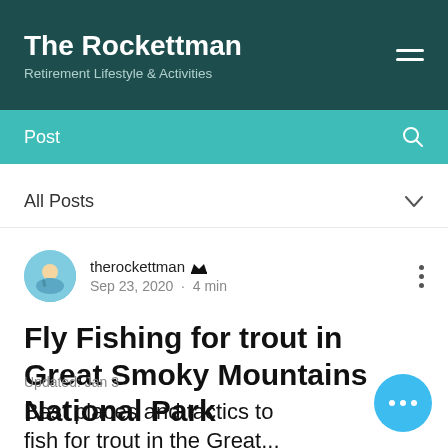The Rockettman — Retirement Lifestyle & Activities
Post
All Posts
therockettman  Sep 23, 2020 · 4 min
Fly Fishing for trout in Great Smoky Mountains National Park
Updated: Jan 3
Best places and tactics to fish for trout in the Great...